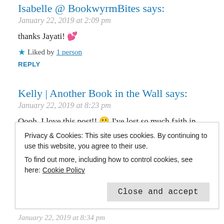Isabelle @ BookwyrmBites says:
January 22, 2019 at 2:09 pm
thanks Jayati! 💕
★ Liked by 1 person
REPLY
Kelly | Another Book in the Wall says:
January 22, 2019 at 8:23 pm
Oooh, I love this post!! 😀 I've lost so much faith in Disney adaptations over the years – wasn't a fan of the live action Maleficent or Beauty and the Beast movies! cries I hope you'll be able to reach all your goals! ❤
Privacy & Cookies: This site uses cookies. By continuing to use this website, you agree to their use. To find out more, including how to control cookies, see here: Cookie Policy
Close and accept
January 22, 2019 at 8:34 pm